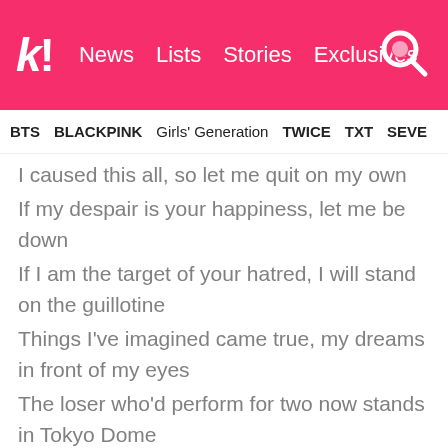k! News Lists Stories Exclusives
BTS BLACKPINK Girls' Generation TWICE TXT SEVE
I caused this all, so let me quit on my own
If my despair is your happiness, let me be down
If I am the target of your hatred, I will stand on the guillotine
Things I've imagined came true, my dreams in front of my eyes
The loser who'd perform for two now stands in Tokyo Dome
I only live once, so live it wild
Anyone can live the average
My fan, my homies, my fam, don't worry I'm okay, damn
I've denied my true self for so long
Yes, I'm an idol, I don't hide that